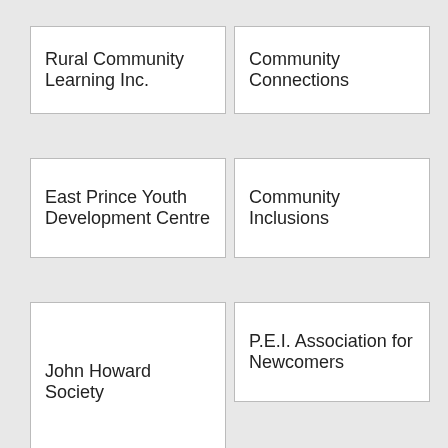| Rural Community Learning Inc. | Community Connections |
| East Prince Youth Development Centre | Community Inclusions |
| John Howard Society | P.E.I. Association for Newcomers |
| Canadian Mental Health Association |  |